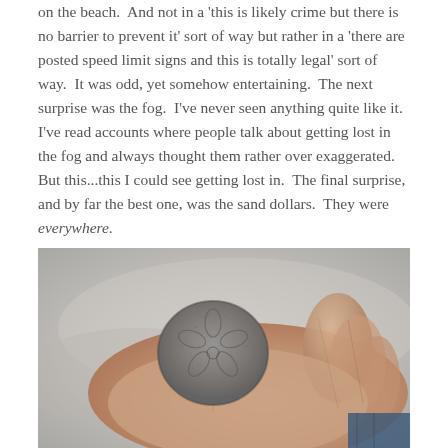on the beach.  And not in a 'this is likely crime but there is no barrier to prevent it' sort of way but rather in a 'there are posted speed limit signs and this is totally legal' sort of way.  It was odd, yet somehow entertaining.  The next surprise was the fog.  I've never seen anything quite like it.  I've read accounts where people talk about getting lost in the fog and always thought them rather over exaggerated.  But this...this I could see getting lost in.  The final surprise, and by far the best one, was the sand dollars.  They were everywhere.
[Figure (photo): A close-up photograph of a hand holding a grey sand dollar. The sand dollar is round, textured, and grey-brown in color. The background shows a blurred beige/grey landscape. Jeans fabric is visible at the bottom right.]